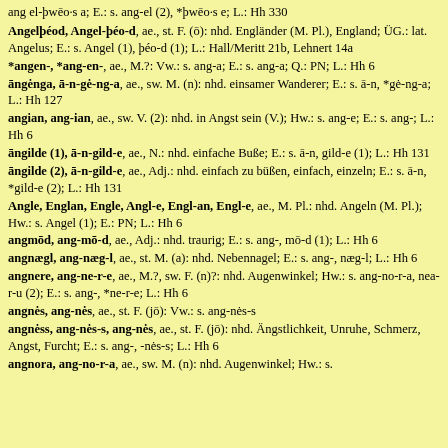ang el-þwēo·s a; E.: s. ang-el (2), *þwēo·s e; L.: Hh 330
Angelþéod, Angel-þéo-d, ae., st. F. (ō): nhd. Engländer (M. Pl.), England; ÜG.: lat. Angelus; E.: s. Angel (1), þéo-d (1); L.: Hall/Meritt 21b, Lehnert 14a
*angen-, *ang-en-, ae., M.?: Vw.: s. ang-a; E.: s. ang-a; Q.: PN; L.: Hh 6
āngėnga, ā-n-gė-ng-a, ae., sw. M. (n): nhd. einsamer Wanderer; E.: s. ā-n, *gė-ng-a; L.: Hh 127
angian, ang-ian, ae., sw. V. (2): nhd. in Angst sein (V.); Hw.: s. ang-e; E.: s. ang-; L.: Hh 6
āngilde (1), ā-n-gild-e, ae., N.: nhd. einfache Buße; E.: s. ā-n, gild-e (1); L.: Hh 131
āngilde (2), ā-n-gild-e, ae., Adj.: nhd. einfach zu büßen, einfach, einzeln; E.: s. ā-n, *gild-e (2); L.: Hh 131
Angle, Englan, Engle, Angl-e, Engl-an, Engl-e, ae., M. Pl.: nhd. Angeln (M. Pl.); Hw.: s. Angel (1); E.: PN; L.: Hh 6
angmōd, ang-mō-d, ae., Adj.: nhd. traurig; E.: s. ang-, mō-d (1); L.: Hh 6
angnægl, ang-næg-l, ae., st. M. (a): nhd. Nebennagel; E.: s. ang-, næg-l; L.: Hh 6
angnere, ang-ne-r-e, ae., M.?, sw. F. (n)?: nhd. Augenwinkel; Hw.: s. ang-no-r-a, nea-r-u (2); E.: s. ang-, *ne-r-e; L.: Hh 6
angnės, ang-nės, ae., st. F. (jō): Vw.: s. ang-nės-s
angnėss, ang-nės-s, ang-nės, ae., st. F. (jō): nhd. Ängstlichkeit, Unruhe, Schmerz, Angst, Furcht; E.: s. ang-, -nės-s; L.: Hh 6
angnora, ang-no-r-a, ae., sw. M. (n): nhd. Augenwinkel; Hw.: s.